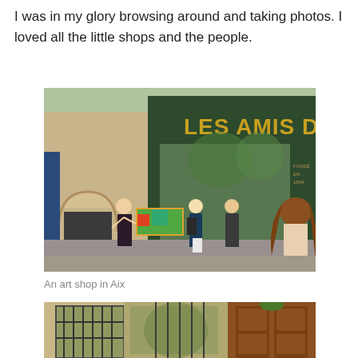I was in my glory browsing around and taking photos. I loved all the little shops and the people.
[Figure (photo): Photograph of 'Les Amis Des Arts' art shop in Aix-en-Provence. People are standing outside looking at colorful paintings displayed on the pavement. The shop front has gold lettering on a dark green storefront.]
An art shop in Aix
[Figure (photo): Photograph showing the bottom of a street scene in Aix with ornate wooden doors and iron-gated windows on a stone building.]